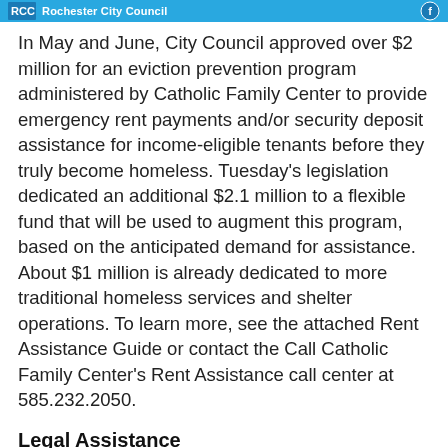Rochester City Council
In May and June, City Council approved over $2 million for an eviction prevention program administered by Catholic Family Center to provide emergency rent payments and/or security deposit assistance for income-eligible tenants before they truly become homeless. Tuesday's legislation dedicated an additional $2.1 million to a flexible fund that will be used to augment this program, based on the anticipated demand for assistance. About $1 million is already dedicated to more traditional homeless services and shelter operations. To learn more, see the attached Rent Assistance Guide or contact the Call Catholic Family Center's Rent Assistance call center at 585.232.2050.
Legal Assistance